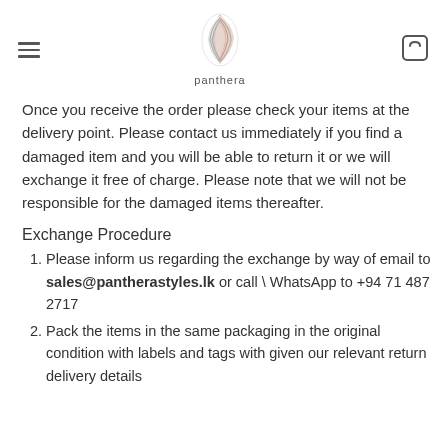panthera
Once you receive the order please check your items at the delivery point. Please contact us immediately if you find a damaged item and you will be able to return it or we will exchange it free of charge. Please note that we will not be responsible for the damaged items thereafter.
Exchange Procedure
Please inform us regarding the exchange by way of email to sales@pantherastyles.lk or call \ WhatsApp to +94 71 487 2717
Pack the items in the same packaging in the original condition with labels and tags with given our relevant return delivery details